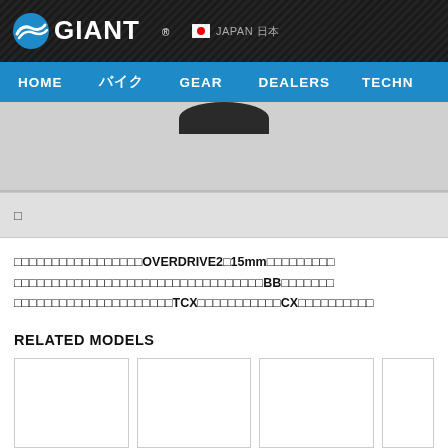GIANT JAPAN 日本
HOME バイク GEAR DEALERS TECHN
[Figure (screenshot): Partially visible bicycle top/handlebar area against grey background]
□
□□□□□□□□□□□□□□□□□OVERDRIVE2□15mm□□□□□□□□□□□□□□□□□□□□□□□□□□□□□□□□□□BB□□□□□□□□□□□□□□□□□□□□□TCX□□□□□□□□□□CX□□□□□□□□□□
RELATED MODELS